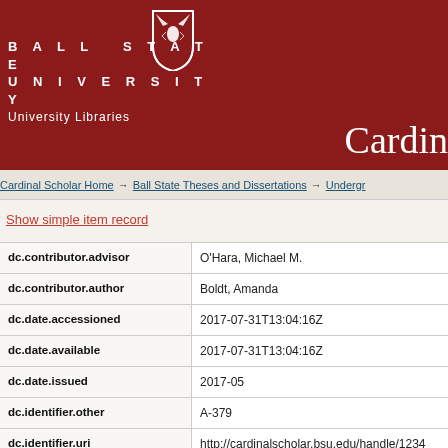[Figure (logo): Ball State University logo with shield and 'BALL STATE UNIVERSITY University Libraries' text on dark red background]
Cardin
Cardinal Scholar Home → Ball State Theses and Dissertations → Undergr
Show simple item record
| Field | Value |
| --- | --- |
| dc.contributor.advisor | O'Hara, Michael M. |
| dc.contributor.author | Boldt, Amanda |
| dc.date.accessioned | 2017-07-31T13:04:16Z |
| dc.date.available | 2017-07-31T13:04:16Z |
| dc.date.issued | 2017-05 |
| dc.identifier.other | A-379 |
| dc.identifier.uri | http://cardinalscholar.bsu.edu/handle/1234 |
| dc.description.abstract | We have all been there through times of tri |